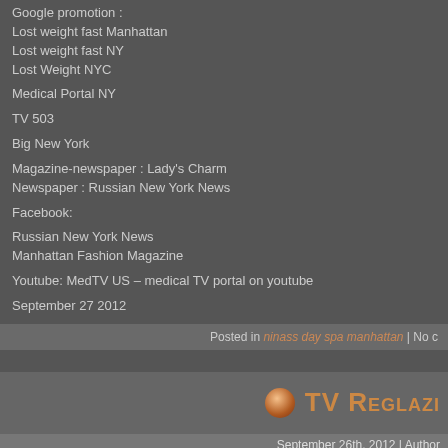Google promotion : Lost weight fast Manhattan Lost weight fast NY Lost Weight NYC
Medical Portal NY
TV 503
Big New York
Magazine-newspaper : Lady's Charm Newspaper : Russian New York News
Facebook:
Russian New York News Manhattan Fashion Magazine
Youtube: MedTV US – medical TV portal on youtube
September 27 2012
Posted in ninass day spa manhattan | No c
TV REGLAZI
September 26th, 2012 | Author
Bathtub Reglazing NYC